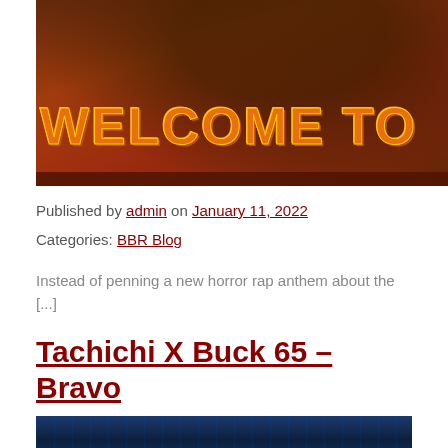[Figure (photo): Movie/album promo image with orange/red background showing a dark figure and bold orange text reading 'WELCOME TO']
Published by admin on January 11, 2022
Categories: BBR Blog
Instead of penning a new horror rap anthem about the [...]
Tachichi X Buck 65 – Bravo
[Figure (photo): Blue-tinted promotional image for Tachichi X Buck 65 – Bravo]